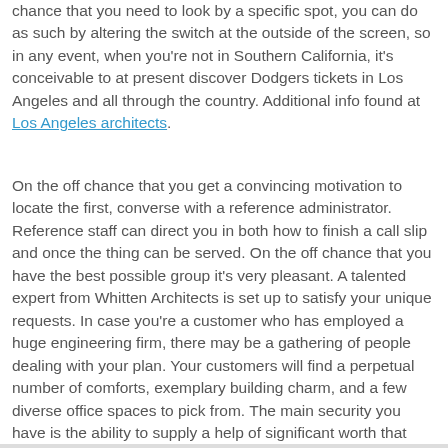chance that you need to look by a specific spot, you can do as such by altering the switch at the outside of the screen, so in any event, when you're not in Southern California, it's conceivable to at present discover Dodgers tickets in Los Angeles and all through the country. Additional info found at Los Angeles architects.
On the off chance that you get a convincing motivation to locate the first, converse with a reference administrator. Reference staff can direct you in both how to finish a call slip and once the thing can be served. On the off chance that you have the best possible group it's very pleasant. A talented expert from Whitten Architects is set up to satisfy your unique requests. In case you're a customer who has employed a huge engineering firm, there may be a gathering of people dealing with your plan. Your customers will find a perpetual number of comforts, exemplary building charm, and a few diverse office spaces to pick from. The main security you have is the ability to supply a help of significant worth that somebody is set up to cover.